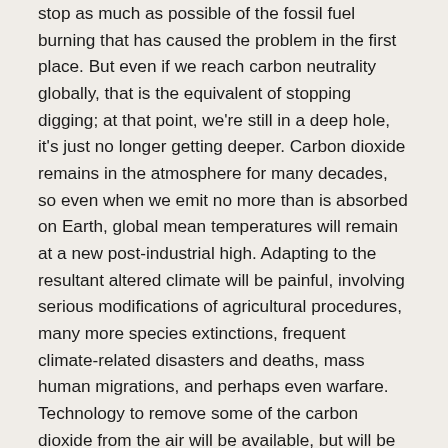stop as much as possible of the fossil fuel burning that has caused the problem in the first place. But even if we reach carbon neutrality globally, that is the equivalent of stopping digging; at that point, we're still in a deep hole, it's just no longer getting deeper. Carbon dioxide remains in the atmosphere for many decades, so even when we emit no more than is absorbed on Earth, global mean temperatures will remain at a new post-industrial high. Adapting to the resultant altered climate will be painful, involving serious modifications of agricultural procedures, many more species extinctions, frequent climate-related disasters and deaths, mass human migrations, and perhaps even warfare. Technology to remove some of the carbon dioxide from the air will be available, but will be very costly if it is to have a significant effect.
The possibility of counteracting at least a significant portion of the human-caused temperature increase by